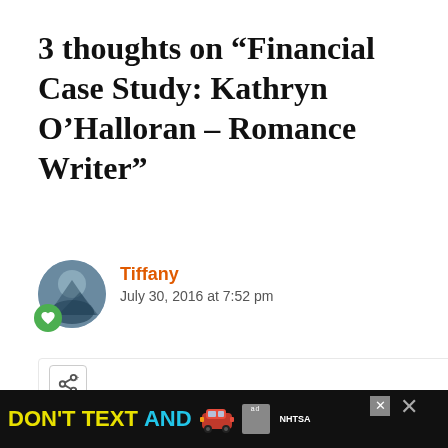3 thoughts on “Financial Case Study: Kathryn O’Halloran – Romance Writer”
Tiffany
July 30, 2016 at 7:52 pm
Hi Kathryn, cool to hear of your writing ... I know what you mean about the cheapest isn’t always the best
[Figure (screenshot): Advertisement banner: DON'T TEXT AND [car emoji] with NHTSA logo on dark background]
HAT'S NEXT → nancial Case udy: Sophia...